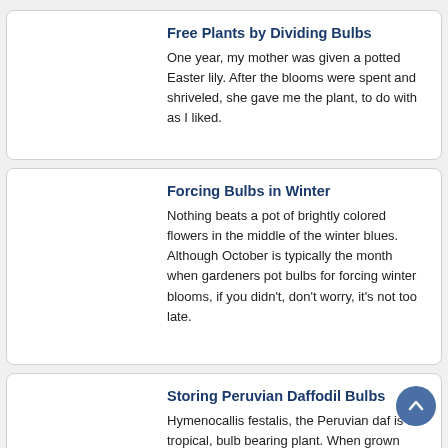Free Plants by Dividing Bulbs
One year, my mother was given a potted Easter lily. After the blooms were spent and shriveled, she gave me the plant, to do with as I liked.
Forcing Bulbs in Winter
Nothing beats a pot of brightly colored flowers in the middle of the winter blues. Although October is typically the month when gardeners pot bulbs for forcing winter blooms, if you didn't, don't worry, it's not too late.
Storing Peruvian Daffodil Bulbs
Hymenocallis festalis, the Peruvian daf... is a tropical, bulb bearing plant. When grown